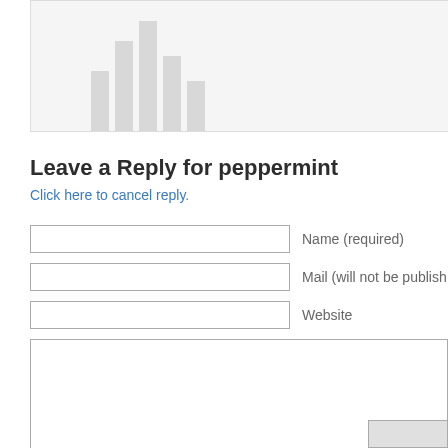[Figure (other): Partial screenshot of a bar chart or graph at the top of a web page, cropped. Shows vertical gray bars of varying heights on a light gray background.]
Leave a Reply for peppermint
Click here to cancel reply.
Name (required)
Mail (will not be published)
Website